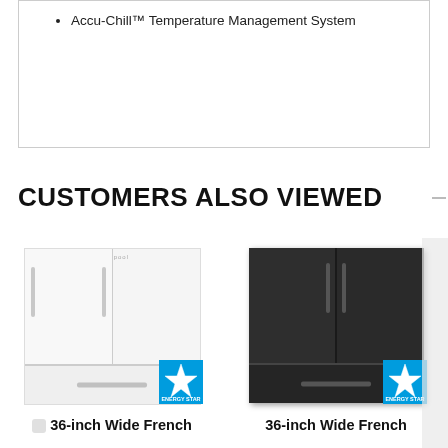Accu-Chill™ Temperature Management System
CUSTOMERS ALSO VIEWED
[Figure (photo): White Whirlpool 36-inch Wide French Door refrigerator with Energy Star badge]
[Figure (photo): Black stainless Whirlpool 36-inch Wide French Door refrigerator with Energy Star badge]
36-inch Wide French
36-inch Wide French